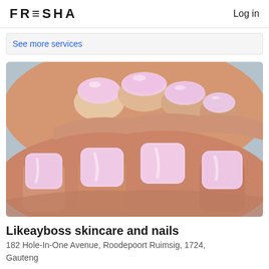FRESHA   Log in
See more services
[Figure (photo): Close-up photo of hands with pink/lavender glossy gel nails, square shaped, showing both a top view of fingers and a palm-side view of nails on the same hands against a light blue-grey background.]
Likeayboss skincare and nails
182 Hole-In-One Avenue, Roodepoort Ruimsig, 1724, Gauteng